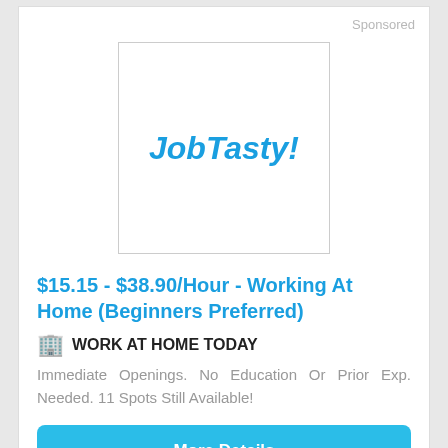Sponsored
[Figure (logo): JobTasty! logo in bold italic blue text inside a white square box with border]
$15.15 - $38.90/Hour - Working At Home (Beginners Preferred)
WORK AT HOME TODAY
Immediate Openings. No Education Or Prior Exp. Needed. 11 Spots Still Available!
More Details
NEW